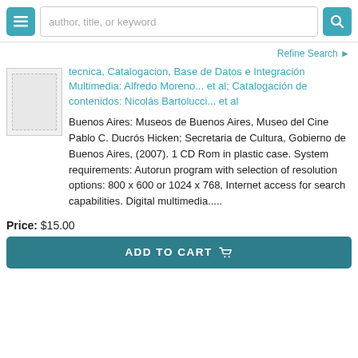author, title, or keyword
Refine Search
tecnica, Catalogacion, Base de Datos e Integración Multimedia: Alfredo Moreno... et al; Catalogación de contenidos: Nicolás Bartolucci... et al
Buenos Aires: Museos de Buenos Aires, Museo del Cine Pablo C. Ducrós Hicken; Secretaria de Cultura, Gobierno de Buenos Aires, (2007). 1 CD Rom in plastic case. System requirements: Autorun program with selection of resolution options: 800 x 600 or 1024 x 768, Internet access for search capabilities. Digital multimedia.....
Price: $15.00
ADD TO CART